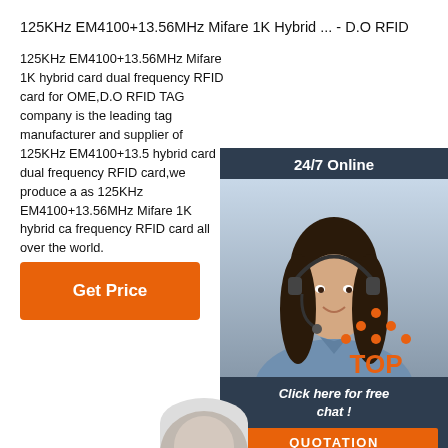125KHz EM4100+13.56MHz Mifare 1K Hybrid ... - D.O RFID
125KHz EM4100+13.56MHz Mifare 1K hybrid card dual frequency RFID card for OME,D.O RFID TAG company is the leading tag manufacturer and supplier of 125KHz EM4100+13.56MHz hybrid card dual frequency RFID card,we produce as 125KHz EM4100+13.56MHz Mifare 1K hybrid card dual frequency RFID card all over the world.
[Figure (other): Orange 'Get Price' button]
[Figure (other): Live chat widget with '24/7 Online' header, photo of woman with headset, 'Click here for free chat!' text, and orange QUOTATION button]
[Figure (logo): TOP logo with orange dots arranged in triangle pattern above the word TOP in orange]
[Figure (other): Partial image at bottom of page]